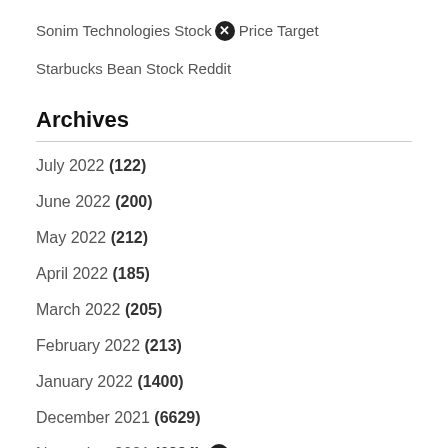Sonim Technologies Stock Price Target
Starbucks Bean Stock Reddit
Archives
July 2022 (122)
June 2022 (200)
May 2022 (212)
April 2022 (185)
March 2022 (205)
February 2022 (213)
January 2022 (1400)
December 2021 (6629)
November 2021 (6224)